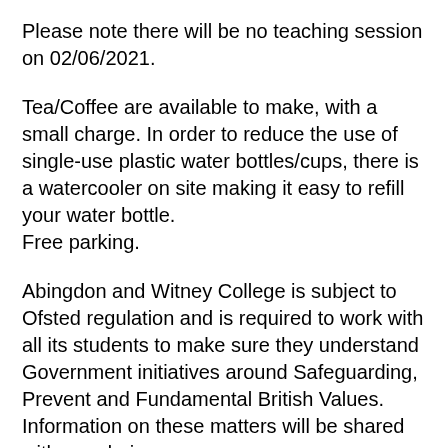Please note there will be no teaching session on 02/06/2021.
Tea/Coffee are available to make, with a small charge. In order to reduce the use of single-use plastic water bottles/cups, there is a watercooler on site making it easy to refill your water bottle.
Free parking.
Abingdon and Witney College is subject to Ofsted regulation and is required to work with all its students to make sure they understand Government initiatives around Safeguarding, Prevent and Fundamental British Values. Information on these matters will be shared with you during your course.
You will also be asked to complete monitoring paperwork, which helps us to deliver course content to the highest quality...